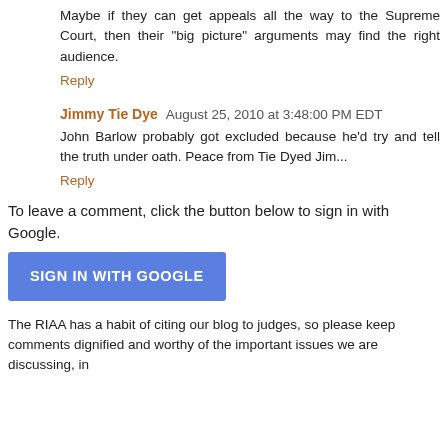Maybe if they can get appeals all the way to the Supreme Court, then their "big picture" arguments may find the right audience.
Reply
Jimmy Tie Dye  August 25, 2010 at 3:48:00 PM EDT
John Barlow probably got excluded because he'd try and tell the truth under oath. Peace from Tie Dyed Jim...
Reply
To leave a comment, click the button below to sign in with Google.
SIGN IN WITH GOOGLE
The RIAA has a habit of citing our blog to judges, so please keep comments dignified and worthy of the important issues we are discussing, in